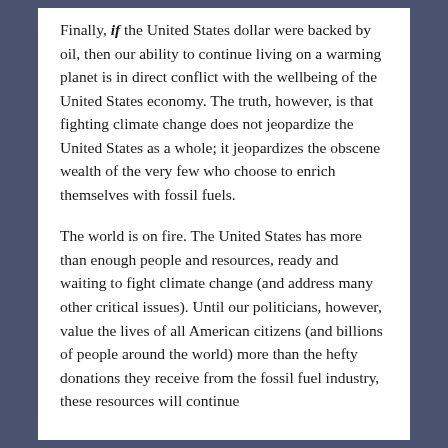Finally, if the United States dollar were backed by oil, then our ability to continue living on a warming planet is in direct conflict with the wellbeing of the United States economy. The truth, however, is that fighting climate change does not jeopardize the United States as a whole; it jeopardizes the obscene wealth of the very few who choose to enrich themselves with fossil fuels.
The world is on fire. The United States has more than enough people and resources, ready and waiting to fight climate change (and address many other critical issues). Until our politicians, however, value the lives of all American citizens (and billions of people around the world) more than the hefty donations they receive from the fossil fuel industry, these resources will continue